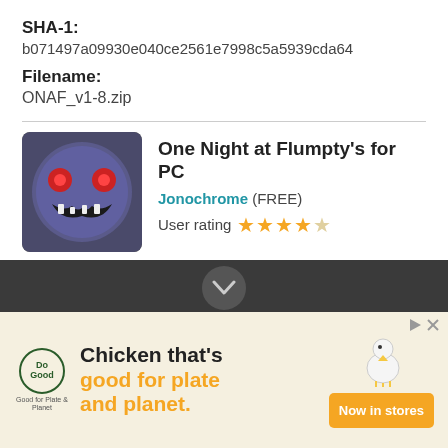SHA-1:
b071497a09930e040ce2561e7998c5a5939cda64
Filename:
ONAF_v1-8.zip
[Figure (screenshot): App listing for 'One Night at Flumpty's for PC' by Jonochrome (FREE), 4-star user rating, with a thumbnail showing a creepy round-eyed monster face, and a green 'Download Latest Version for Free' button]
[Figure (screenshot): Advertisement banner for 'Do Good' chicken brand: 'Chicken that's good for plate and planet.' with 'Now in stores' orange button]